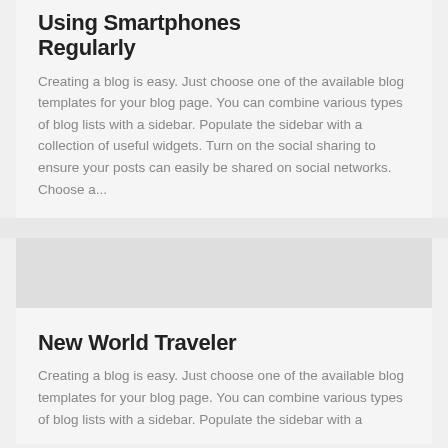Using Smartphones Regularly
Creating a blog is easy. Just choose one of the available blog templates for your blog page. You can combine various types of blog lists with a sidebar. Populate the sidebar with a collection of useful widgets. Turn on the social sharing to ensure your posts can easily be shared on social networks. Choose a...
New World Traveler
Creating a blog is easy. Just choose one of the available blog templates for your blog page. You can combine various types of blog lists with a sidebar. Populate the sidebar with a